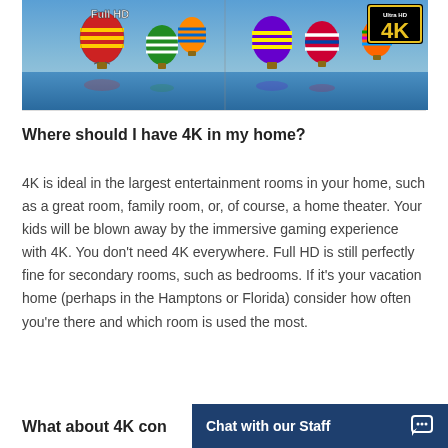[Figure (photo): Split image showing hot air balloons over water on the left side labeled Full HD, and the same scene on the right side with an Ultra HD 4K badge in the corner]
Where should I have 4K in my home?
4K is ideal in the largest entertainment rooms in your home, such as a great room, family room, or, of course, a home theater. Your kids will be blown away by the immersive gaming experience with 4K. You don't need 4K everywhere. Full HD is still perfectly fine for secondary rooms, such as bedrooms. If it's your vacation home (perhaps in the Hamptons or Florida) consider how often you're there and which room is used the most.
What about 4K con